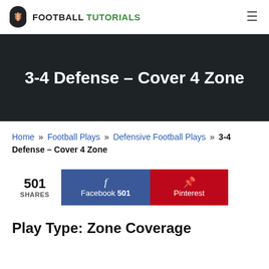FOOTBALL TUTORIALS
3-4 Defense – Cover 4 Zone
Home » Football Plays » Defensive Football Plays » 3-4 Defense – Cover 4 Zone
501 SHARES  Facebook 501  Pinterest
Play Type: Zone Coverage